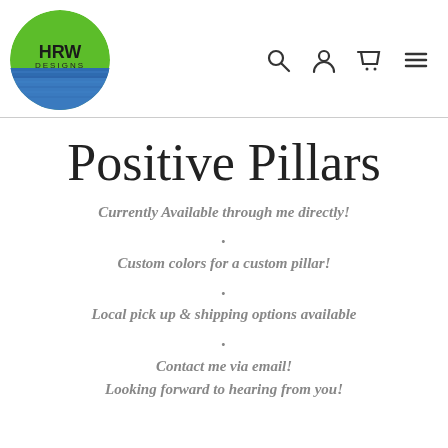HRW DESIGNS
Positive Pillars
Currently Available through me directly!
.
Custom colors for a custom pillar!
.
Local pick up & shipping options available
.
Contact me via email!
Looking forward to hearing from you!